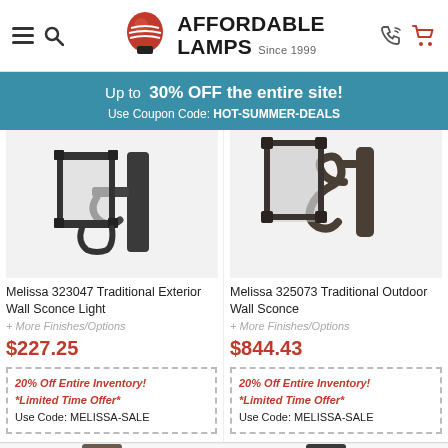Affordable Lamps Since 1999
Up to 30% OFF the entire site! Use Coupon Code: HOT-SUMMER-DEALS
[Figure (photo): Melissa 323047 Traditional Exterior Wall Sconce Light product photo]
Melissa 323047 Traditional Exterior Wall Sconce Light
+ More Finishes/Options
$227.25
20% Off Entire Inventory! *Limited Time Offer* Use Code: MELISSA-SALE
[Figure (photo): Melissa 325073 Traditional Outdoor Wall Sconce product photo]
Melissa 325073 Traditional Outdoor Wall Sconce
+ More Finishes/Options
$844.43
20% Off Entire Inventory! *Limited Time Offer* Use Code: MELISSA-SALE
[Figure (photo): Bottom strip showing partial lamp product photos]